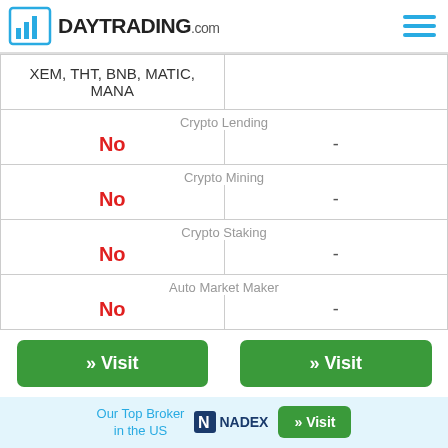DAYTRADING.com
|  |  |
| --- | --- |
| XEM, THT, BNB, MATIC, MANA |  |
| Crypto Lending | Crypto Lending |
| No | - |
| Crypto Mining | Crypto Mining |
| No | - |
| Crypto Staking | Crypto Staking |
| No | - |
| Auto Market Maker | Auto Market Maker |
| No | - |
| » Visit | » Visit |
Our Top Broker in the US  NADEX  » Visit